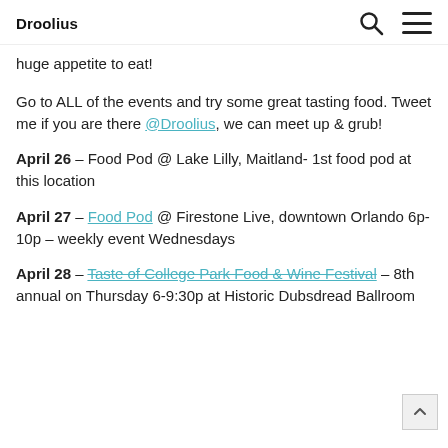Droolius
huge appetite to eat!
Go to ALL of the events and try some great tasting food. Tweet me if you are there @Droolius, we can meet up & grub!
April 26 – Food Pod @ Lake Lilly, Maitland- 1st food pod at this location
April 27 – Food Pod @ Firestone Live, downtown Orlando 6p-10p – weekly event Wednesdays
April 28 – Taste of College Park Food & Wine Festival – 8th annual on Thursday 6-9:30p at Historic Dubsdread Ballroom